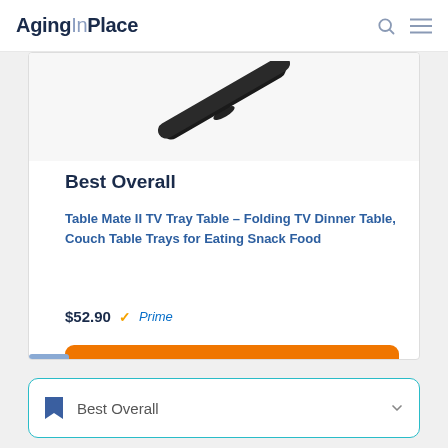AgingInPlace
[Figure (photo): Partial product image showing a dark/black elongated object (portion of TV tray table component) against white background]
Best Overall
Table Mate II TV Tray Table – Folding TV Dinner Table, Couch Table Trays for Eating Snack Food
$52.90 ✓Prime
Buy on Amazon →
Best Overall